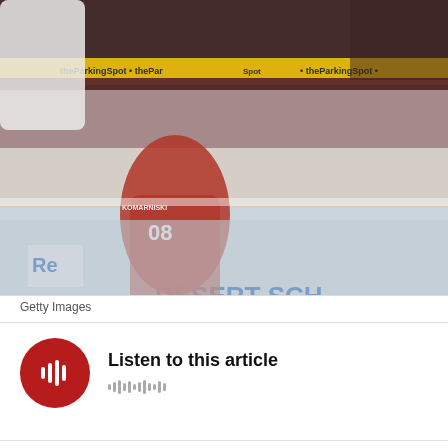[Figure (photo): NHL hockey game photo showing a Los Angeles Kings player in white jersey number 8 handling a puck on the ice, with a Phoenix Coyotes player in red jersey number 08 defending. Players from both teams are visible on the bench in the background along with arena advertisements for Desert Schools, Fry's Food Store, The Parking Spot, and Reebok.]
Getty Images
Listen to this article